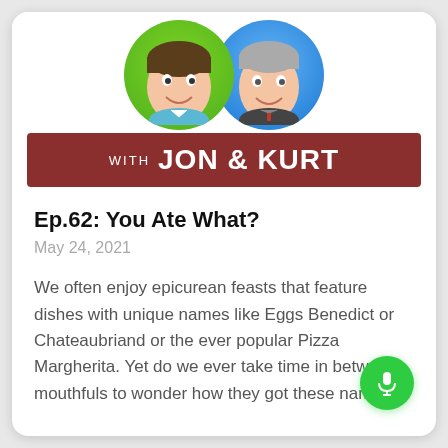[Figure (illustration): Podcast show artwork: two cartoon avatar faces in green and blue circular frames above a dark red banner reading WITH JON & KURT]
Ep.62: You Ate What?
May 24, 2021
We often enjoy epicurean feasts that feature dishes with unique names like Eggs Benedict or Chateaubriand or the ever popular Pizza Margherita. Yet do we ever take time in between mouthfuls to wonder how they got these names...